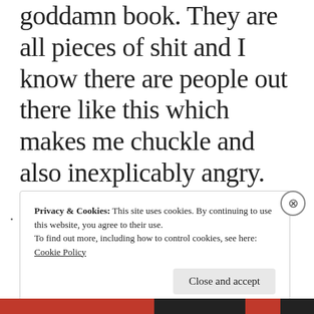goddamn book. They are all pieces of shit and I know there are people out there like this which makes me chuckle and also inexplicably angry. The only person I did not think was an asshole was Rachel, and that's because she is pathetic. I
Privacy & Cookies: This site uses cookies. By continuing to use this website, you agree to their use.
To find out more, including how to control cookies, see here: Cookie Policy

Close and accept